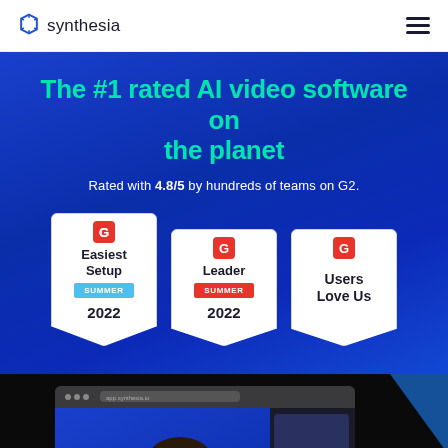synthesia
The #1 rated AI video software on the planet
Rated with 4.8/5 by hundreds of teams on G2.
[Figure (other): Three G2 award badges: Easiest Setup Summer 2022, Leader Summer 2022, Users Love Us]
[Figure (screenshot): Screenshot of Synthesia app in a browser window showing an AI avatar (woman with dark hair) with a chat support button overlay]